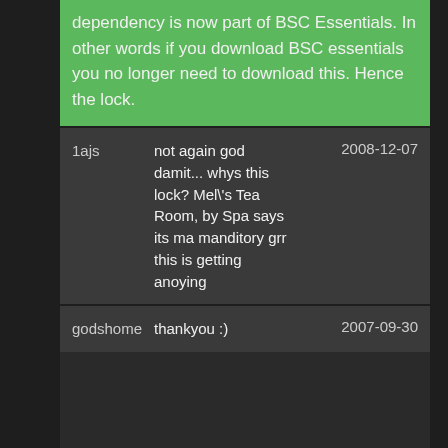dependency is now part of BSC Essentials. In other words if you download BSC essentials you no longer need to download this. Hence the lock.
| user | comment | date |
| --- | --- | --- |
| 1ajs | not again god damit... whys this lock? Mel's Tea Room, by Spa says its ma manditory grr this is getting anoying | 2008-12-07 |
| godshome | thankyou :) | 2007-09-30 |